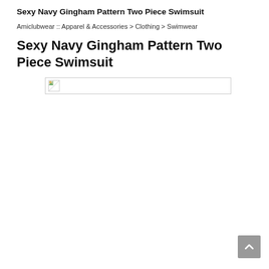Sexy Navy Gingham Pattern Two Piece Swimsuit
Amiclubwear :: Apparel & Accessories > Clothing > Swimwear
Sexy Navy Gingham Pattern Two Piece Swimsuit
[Figure (photo): Broken image placeholder for product photo of Sexy Navy Gingham Pattern Two Piece Swimsuit]